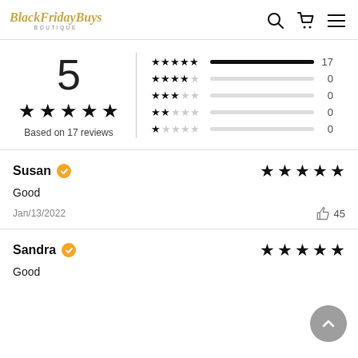BlackFridayBuys Boutique — header with search, cart, menu icons
[Figure (infographic): Rating summary: score of 5 out of 5 stars based on 17 reviews, with bar chart breakdown: 5-star=17, 4-star=0, 3-star=0, 2-star=0, 1-star=0]
Susan (verified) — 5 stars — Good — Jan/13/2022 — 45 helpful votes
Sandra (verified) — 5 stars — Good